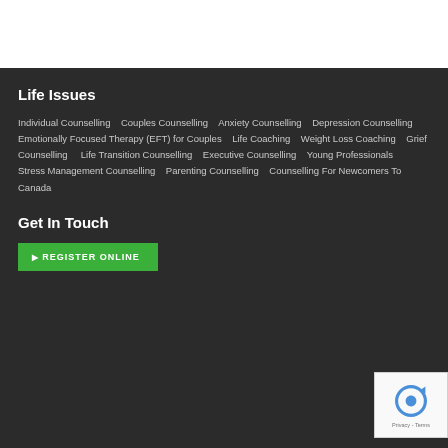Life Issues
Individual Counselling   Couples Counselling   Anxiety Counselling   Depression Counselling   Emotionally Focused Therapy (EFT) for Couples   Life Coaching   Weight Loss Coaching   Grief Counselling   Life Transition Counselling   Executive Counselling   Young Professionals   Stress Management Counselling   Parenting Counselling   Counselling For Newcomers To Canada
Get In Touch
REGISTER ONLINE
[Figure (logo): reCAPTCHA badge with recycling arrow icon and Privacy - Terms text]